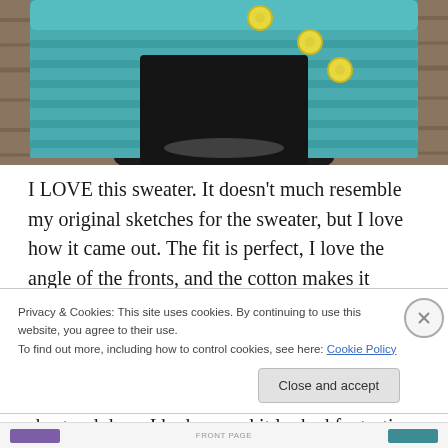[Figure (photo): Close-up photo of a teal/turquoise knitted sweater with yellow buttons, displayed on a dark stand or form, with wooden planks visible in the background.]
I LOVE this sweater. It doesn't much resemble my original sketches for the sweater, but I love how it came out. The fit is perfect, I love the angle of the fronts, and the cotton makes it perfect for layering over tanks in fall/spring. Perfect for back to school! I could probably wear it on cool summer nights too… Immediately after I finished it, I put it on over a short red dress I had on, and it looked fantastic,
Privacy & Cookies: This site uses cookies. By continuing to use this website, you agree to their use.
To find out more, including how to control cookies, see here: Cookie Policy
Close and accept